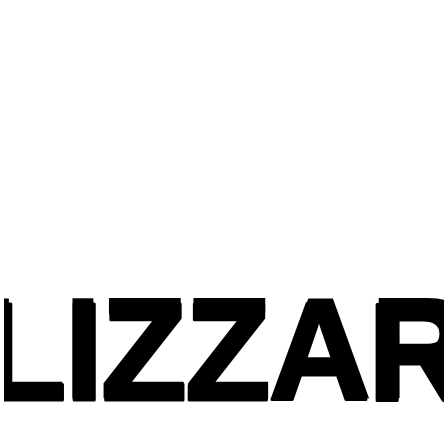[Figure (logo): Blizzard Entertainment logo in black stylized gothic/metal typeface lettering on white background. The word BLIZZARD rendered in a heavily distressed, jagged, hand-drawn style with rough edges and cracks.]